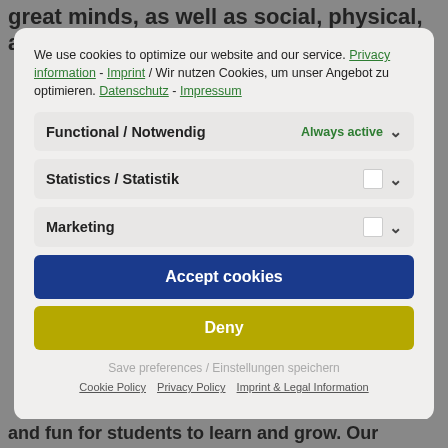great minds, as well as social, physical, and
We use cookies to optimize our website and our service. Privacy information - Imprint / Wir nutzen Cookies, um unser Angebot zu optimieren. Datenschutz - Impressum
Functional / Notwendig — Always active
Statistics / Statistik
Marketing
Accept cookies
Deny
Save preferences / Einstellungen speichern
Cookie Policy   Privacy Policy   Imprint & Legal Information
and fun for students to learn and grow. Our